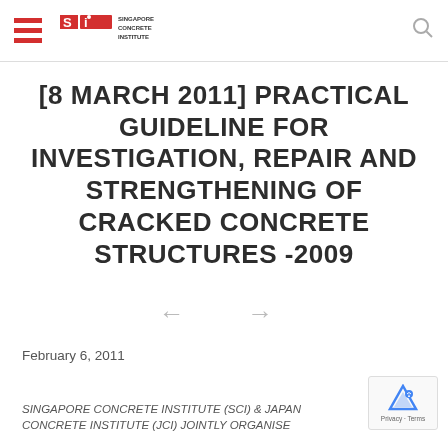Singapore Concrete Institute header with logo and hamburger menu
[8 MARCH 2011] PRACTICAL GUIDELINE FOR INVESTIGATION, REPAIR AND STRENGTHENING OF CRACKED CONCRETE STRUCTURES -2009
February 6, 2011
SINGAPORE CONCRETE INSTITUTE (SCI) & JAPAN CONCRETE INSTITUTE (JCI) JOINTLY ORGANISE